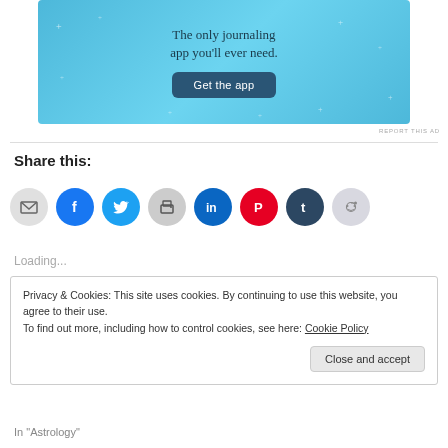[Figure (other): Advertisement banner with light blue background showing 'The only journaling app you'll ever need.' text and a 'Get the app' button]
REPORT THIS AD
Share this:
[Figure (other): Row of social media sharing icon buttons: email, Facebook, Twitter, print, LinkedIn, Pinterest, Tumblr, Reddit]
Loading...
Privacy & Cookies: This site uses cookies. By continuing to use this website, you agree to their use.
To find out more, including how to control cookies, see here: Cookie Policy
In "Astrology"